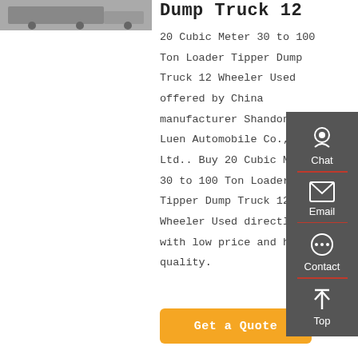[Figure (photo): Partial view of a dump truck]
Dump Truck 12
20 Cubic Meter 30 to 100 Ton Loader Tipper Dump Truck 12 Wheeler Used offered by China manufacturer Shandong Luen Automobile Co., Ltd.. Buy 20 Cubic Meter 30 to 100 Ton Loader Tipper Dump Truck 12 Wheeler Used directly with low price and high quality.
[Figure (infographic): Side panel with Chat, Email, Contact, and Top buttons on dark grey background]
Get a Quote